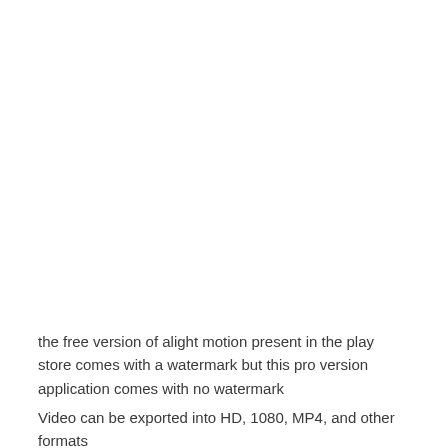the free version of alight motion present in the play store comes with a watermark but this pro version application comes with no watermark
Video can be exported into HD, 1080, MP4, and other formats